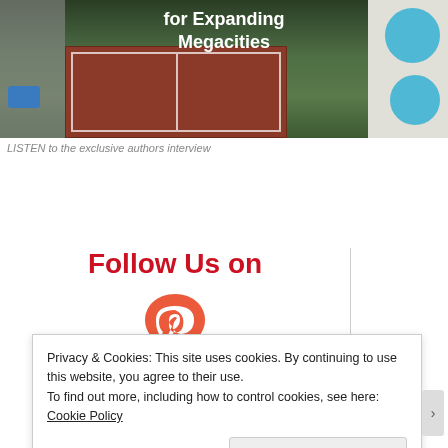[Figure (photo): Aerial view of a city area showing a tennis/sports court, trees, a road with a blue vehicle, and circular pool structures on the right. White bold text overlay reads 'for Expanding Megacities'.]
LISTEN to the exclusive authors interview
Follow Us on
[Figure (logo): Pinterest logo arc/rainbow symbol in red/orange]
Privacy & Cookies: This site uses cookies. By continuing to use this website, you agree to their use.
To find out more, including how to control cookies, see here: Cookie Policy
Close and accept